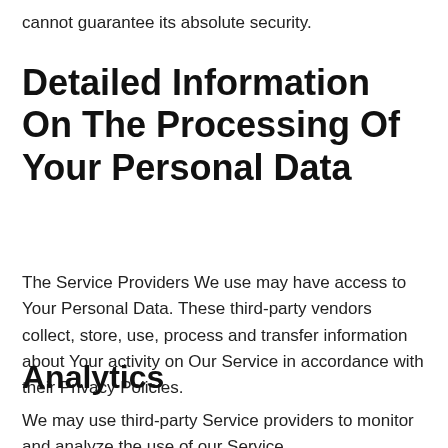cannot guarantee its absolute security.
Detailed Information On The Processing Of Your Personal Data
The Service Providers We use may have access to Your Personal Data. These third-party vendors collect, store, use, process and transfer information about Your activity on Our Service in accordance with their Privacy Policies.
Analytics
We may use third-party Service providers to monitor and analyze the use of our Service.